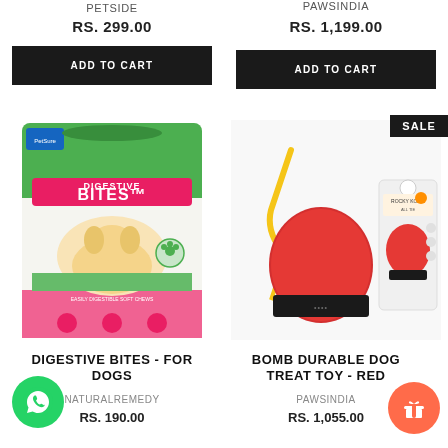PETSIDE
RS. 299.00
ADD TO CART
PAWSINDIA
RS. 1,199.00
ADD TO CART
[Figure (photo): Digestive Bites dog treat package - white and green bag with golden retriever dog image, pink bottom section]
SALE
[Figure (photo): Bomb Durable Dog Treat Toy in red, shown loose with yellow rope and in retail packaging]
DIGESTIVE BITES - FOR DOGS
NATURALREMEDY
RS. 190.00
BOMB DURABLE DOG TREAT TOY - RED
PAWSINDIA
RS. 1,055.00